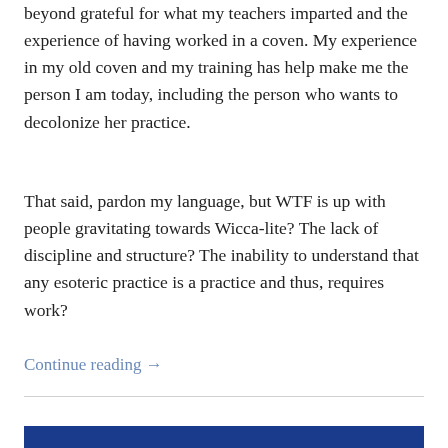beyond grateful for what my teachers imparted and the experience of having worked in a coven. My experience in my old coven and my training has help make me the person I am today, including the person who wants to decolonize her practice.
That said, pardon my language, but WTF is up with people gravitating towards Wicca-lite? The lack of discipline and structure? The inability to understand that any esoteric practice is a practice and thus, requires work?
Continue reading →